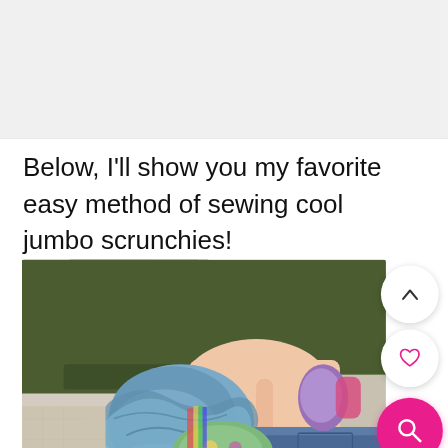Below, I'll show you my favorite easy method of sewing cool jumbo scrunchies!
[Figure (photo): Close-up photo of a person's wrist wearing multiple colorful scrunchies including a large blue denim scrunchie and a floral scrunchie, with a green sleeve visible and jeans in the background. Three UI overlay buttons are visible on the right: an up-arrow button, a heart/favorite button, and a pink search button.]